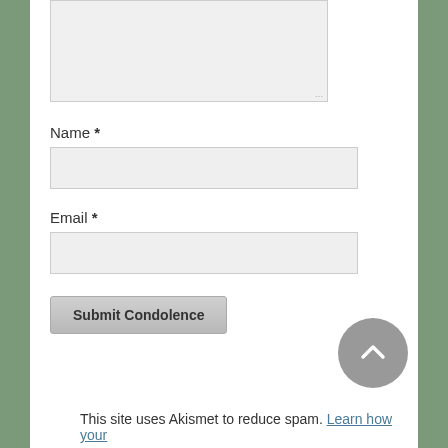[Figure (screenshot): A textarea form field (comment/condolence input box) with light gray background and resize handle in bottom-right corner]
Name *
[Figure (screenshot): A text input field for Name with light gray background]
Email *
[Figure (screenshot): A text input field for Email with light gray background]
[Figure (screenshot): Submit Condolence button with gray gradient styling]
[Figure (screenshot): Gray circular back-to-top button with upward chevron arrow]
This site uses Akismet to reduce spam. Learn how your